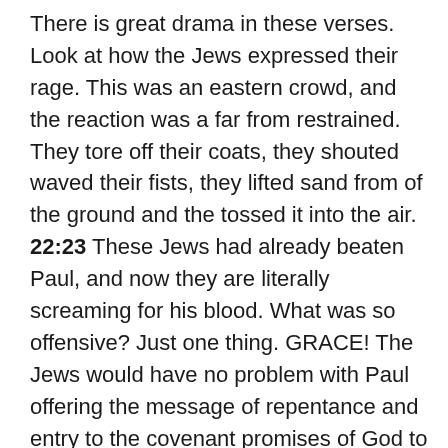There is great drama in these verses. Look at how the Jews expressed their rage. This was an eastern crowd, and the reaction was a far from restrained. They tore off their coats, they shouted waved their fists, they lifted sand from of the ground and the tossed it into the air. 22:23 These Jews had already beaten Paul, and now they are literally screaming for his blood. What was so offensive? Just one thing. GRACE! The Jews would have no problem with Paul offering the message of repentance and entry to the covenant promises of God to Gentiles – not at all. After all, every synagogue in the Gentile world had its god-fearers, those Greeks who were seeking after the God of Israel, seeking to learn more about God's wonderful deliverance of his own people. And some of them would become proselytes, – they would accept the Jewish faith, turn from their wickedness, and seek to follow the Jewish